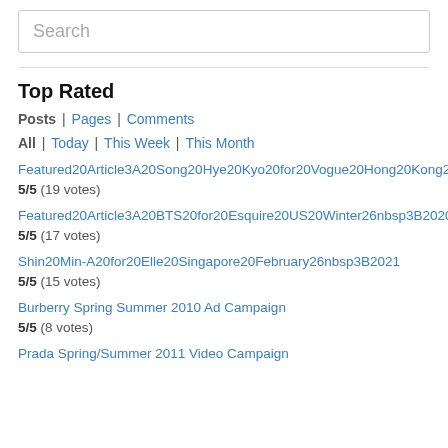Search
Top Rated
Posts | Pages | Comments
All | Today | This Week | This Month
Featured20Article3A20Song20Hye20Kyo20for20Vogue20Hong20Kong20December26nbsp3B2020
5/5 (19 votes)
Featured20Article3A20BTS20for20Esquire20US20Winter26nbsp3B2020
5/5 (17 votes)
Shin20Min-A20for20Elle20Singapore20February26nbsp3B2021
5/5 (15 votes)
Burberry Spring Summer 2010 Ad Campaign
5/5 (8 votes)
Prada Spring/Summer 2011 Video Campaign